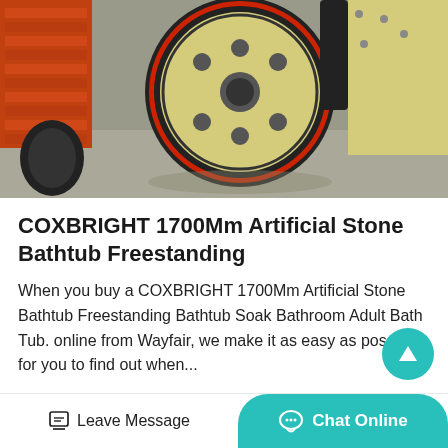[Figure (photo): Industrial machinery photo showing a large yellow flywheel with red rim and black belt/pulley, with orange industrial equipment (possibly a jaw crusher) visible in the background, on a concrete floor in an industrial setting.]
COXBRIGHT 1700Mm Artificial Stone Bathtub Freestanding
When you buy a COXBRIGHT 1700Mm Artificial Stone Bathtub Freestanding Bathtub Soak Bathroom Adult Bath Tub. online from Wayfair, we make it as easy as possible for you to find out when...
Consult Now
Leave Message
Chat Online